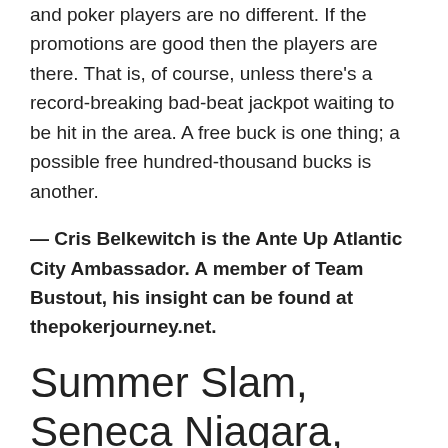and poker players are no different. If the promotions are good then the players are there. That is, of course, unless there's a record-breaking bad-beat jackpot waiting to be hit in the area. A free buck is one thing; a possible free hundred-thousand bucks is another.
— Cris Belkewitch is the Ante Up Atlantic City Ambassador. A member of Team Bustout, his insight can be found at thepokerjourney.net.
Summer Slam, Seneca Niagara, July 24-29
Event 1 • $175 PLO
Players: 68 • Pool: $10,013